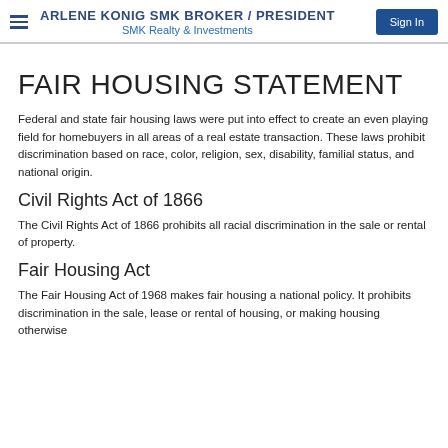ARLENE KONIG SMK BROKER / PRESIDENT SMK Realty & Investments
FAIR HOUSING STATEMENT
Federal and state fair housing laws were put into effect to create an even playing field for homebuyers in all areas of a real estate transaction. These laws prohibit discrimination based on race, color, religion, sex, disability, familial status, and national origin.
Civil Rights Act of 1866
The Civil Rights Act of 1866 prohibits all racial discrimination in the sale or rental of property.
Fair Housing Act
The Fair Housing Act of 1968 makes fair housing a national policy. It prohibits discrimination in the sale, lease or rental of housing, or making housing otherwise